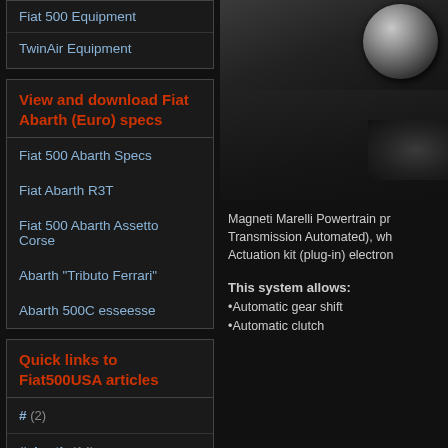Fiat 500 Equipment
TwinAir Equipment
View and download Fiat Abarth (Euro) specs
Fiat 500 Abarth Specs
Fiat Abarth R3T
Fiat 500 Abarth Assetto Corse
Abarth "Tributo Ferrari"
Abarth 500C esseesse
Quick links to Fiat500USA articles
# (2)
#abarth (14)
[Figure (photo): Close-up of dark metallic Fiat car interior/exterior detail with circular button or knob element]
Magneti Marelli Powertrain pr Transmission Automated), wh Actuation kit (plug-in) electron
This system allows: •Automatic gear shift •Automatic clutch